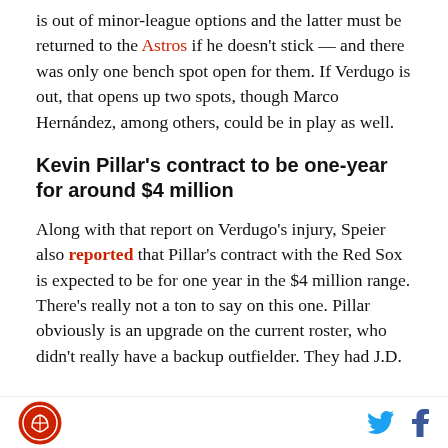is out of minor-league options and the latter must be returned to the Astros if he doesn't stick — and there was only one bench spot open for them. If Verdugo is out, that opens up two spots, though Marco Hernández, among others, could be in play as well.
Kevin Pillar's contract to be one-year for around $4 million
Along with that report on Verdugo's injury, Speier also reported that Pillar's contract with the Red Sox is expected to be for one year in the $4 million range. There's really not a ton to say on this one. Pillar obviously is an upgrade on the current roster, who didn't really have a backup outfielder. They had J.D.
[logo] [twitter] [facebook]